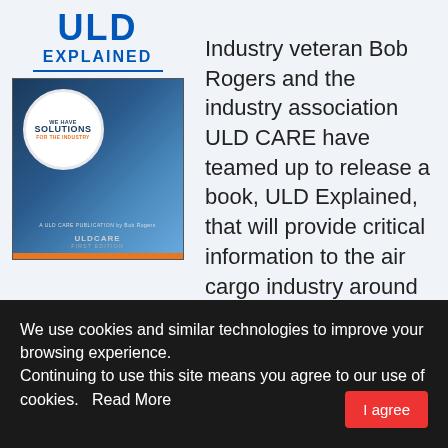[Figure (photo): Book cover for 'ULD Explained' — First Edition, a ULD CARE publication by Bob Rogers. Dark blue cover with a Solutions circular badge and aircraft imagery. Orange bar at the bottom. The title 'ULD EXPLAINED' appears above the cover image in bold blue text.]
Industry veteran Bob Rogers and the industry association ULD CARE have teamed up to release a book, ULD Explained, that will provide critical information to the air cargo industry around the
We use cookies and similar technologies to improve your browsing experience.
Continuing to use this site means you agree to our use of cookies.   Read More
I agree